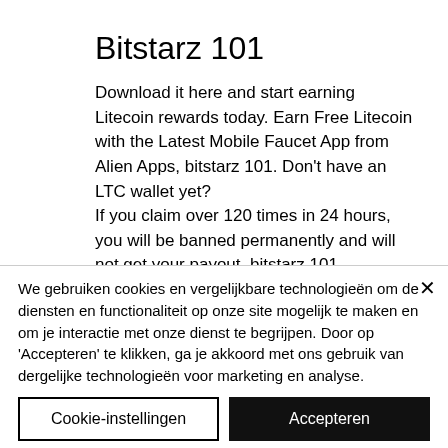Bitstarz 101
Download it here and start earning Litecoin rewards today. Earn Free Litecoin with the Latest Mobile Faucet App from Alien Apps, bitstarz 101. Don't have an LTC wallet yet?
If you claim over 120 times in 24 hours, you will be banned permanently and will not get your payout, bitstarz 101.
We gebruiken cookies en vergelijkbare technologieën om de diensten en functionaliteit op onze site mogelijk te maken en om je interactie met onze dienst te begrijpen. Door op 'Accepteren' te klikken, ga je akkoord met ons gebruik van dergelijke technologieën voor marketing en analyse.